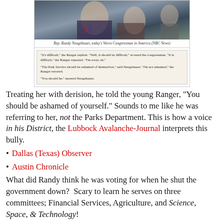[Figure (photo): Photo of Rep. Randy Neugebauer with caption 'Rep. Randy Neugebauer, today's Worst Congressman in America (NBC News)' and a quote box below it with text about a Ranger and the congressman exchange.]
Treating her with derision, he told the young Ranger, "You should be ashamed of yourself." Sounds to me like he was referring to her, not the Parks Department. This is how a voice in his District, the Lubbock Avalanche-Journal interprets this bully.
Dallas (Texas) Observer
Austin Chronicle
What did Randy think he was voting for when he shut the government down?  Scary to learn he serves on three committees; Financial Services, Agriculture, and Science, Space, & Technology!
Is this the voice of a Texas politician Texans want to tell...